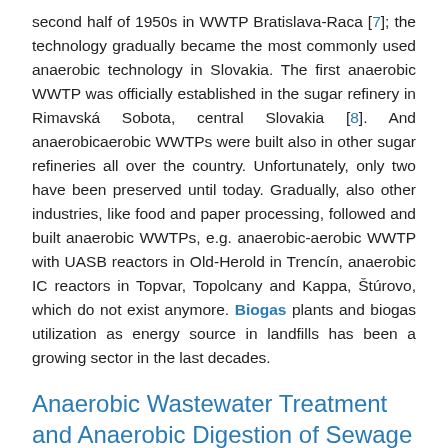second half of 1950s in WWTP Bratislava-Raca [7]; the technology gradually became the most commonly used anaerobic technology in Slovakia. The first anaerobic WWTP was officially established in the sugar refinery in Rimavská Sobota, central Slovakia [8]. And anaerobicaerobic WWTPs were built also in other sugar refineries all over the country. Unfortunately, only two have been preserved until today. Gradually, also other industries, like food and paper processing, followed and built anaerobic WWTPs, e.g. anaerobic-aerobic WWTP with UASB reactors in Old-Herold in Trencín, anaerobic IC reactors in Topvar, Topolcany and Kappa, Štúrovo, which do not exist anymore. Biogas plants and biogas utilization as energy source in landfills has been a growing sector in the last decades.
Anaerobic Wastewater Treatment and Anaerobic Digestion of Sewage Sludge